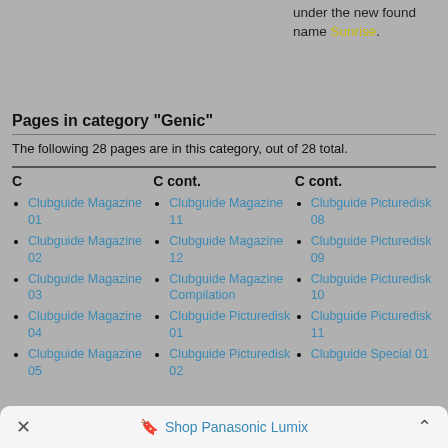under the new found name Sunrise.
Pages in category "Genic"
The following 28 pages are in this category, out of 28 total.
C
Clubguide Magazine 01
Clubguide Magazine 02
Clubguide Magazine 03
Clubguide Magazine 04
Clubguide Magazine 05
C cont.
Clubguide Magazine 11
Clubguide Magazine 12
Clubguide Magazine Compilation
Clubguide Picturedisk 01
Clubguide Picturedisk 02
C cont.
Clubguide Picturedisk 08
Clubguide Picturedisk 09
Clubguide Picturedisk 10
Clubguide Picturedisk 11
Clubguide Special 01
Shop Panasonic Lumix